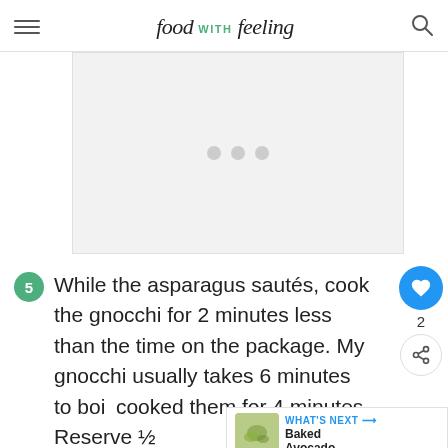food with feeling
[Figure (other): Advertisement placeholder with three grey loading dots on a light grey background]
While the asparagus sautés, cook the gnocchi for 2 minutes less than the time on the package. My gnocchi usually takes 6 minutes to boil, so I cooked them for 4 minutes. Reserve ½